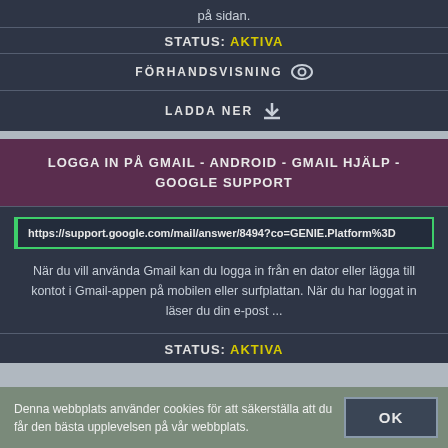på sidan.
STATUS: AKTIVA
FÖRHANDSVISNING
LADDA NER
LOGGA IN PÅ GMAIL - ANDROID - GMAIL HJÄLP - GOOGLE SUPPORT
https://support.google.com/mail/answer/8494?co=GENIE.Platform%3D
När du vill använda Gmail kan du logga in från en dator eller lägga till kontot i Gmail-appen på mobilen eller surfplattan. När du har loggat in läser du din e-post ...
STATUS: AKTIVA
Denna webbplats använder cookies för att säkerställa att du får den bästa upplevelsen på vår webbplats.